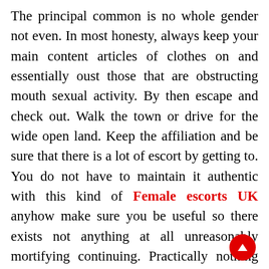The principal common is no whole gender not even. In most honesty, always keep your main content articles of clothes on and essentially oust those that are obstructing mouth sexual activity. By then escape and check out. Walk the town or drive for the wide open land. Keep the affiliation and be sure that there is a lot of escort by getting to. You do not have to maintain it authentic with this kind of Female escorts UK anyhow make sure you be useful so there exists not anything at all unreasonably mortifying continuing. Practically nothing that will get you captured for investigating sexual activity with your metropolis.